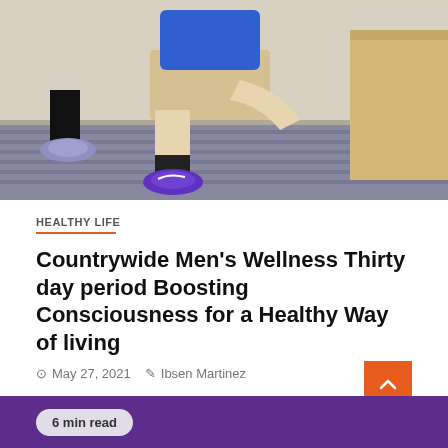[Figure (photo): Photo showing a person in a blue shirt and khaki shorts doing a squat exercise near a wooden box, wearing purple Nike sneakers, with another person visible nearby on a carpeted gym floor.]
HEALTHY LIFE
Countrywide Men's Wellness Thirty day period Boosting Consciousness for a Healthy Way of living
May 27, 2021   Ibsen Martinez
Audible tales brought to you by Prescott Valley's most recent print voice, TG Journal. June is National Men's Health and...
6 min read